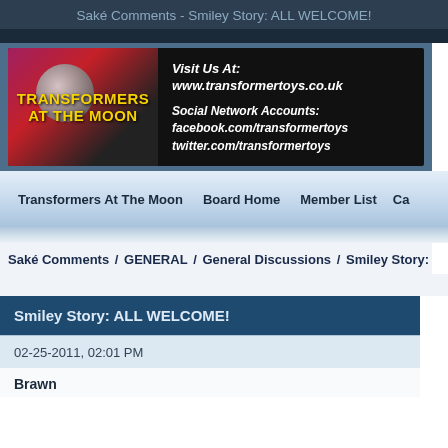Saké Comments - Smiley Story: ALL WELCOME!
[Figure (screenshot): Transformers At The Moon banner advertisement with logo on left and website/social info on right]
Transformers At The Moon   Board Home   Member List   Ca
Saké Comments / GENERAL / General Discussions [v] / Smiley Story:
Smiley Story: ALL WELCOME!
02-25-2011, 02:01 PM
Brawn